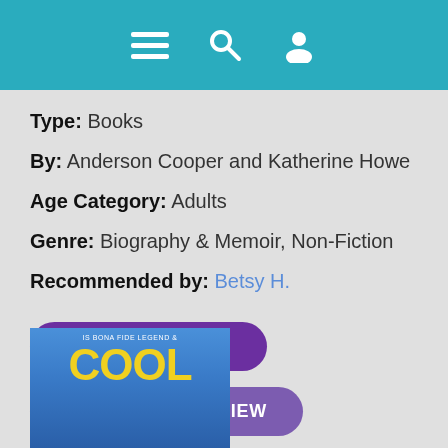[Figure (screenshot): Mobile app header bar with hamburger menu, search, and user account icons on teal/blue background]
Type: Books
By: Anderson Cooper and Katherine Howe
Age Category: Adults
Genre: Biography & Memoir, Non-Fiction
Recommended by: Betsy H.
CHECK CATALOG
READ STAFF REVIEW
[Figure (photo): Partial book cover showing 'COOL' in large yellow letters on blue background, with small text above reading 'IS BONA FIDE LEGEND']